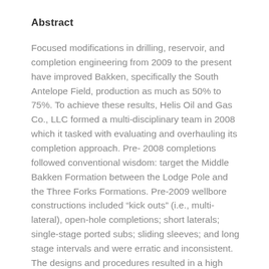Abstract
Focused modifications in drilling, reservoir, and completion engineering from 2009 to the present have improved Bakken, specifically the South Antelope Field, production as much as 50% to 75%. To achieve these results, Helis Oil and Gas Co., LLC formed a multi-disciplinary team in 2008 which it tasked with evaluating and overhauling its completion approach. Pre- 2008 completions followed conventional wisdom: target the Middle Bakken Formation between the Lodge Pole and the Three Forks Formations. Pre-2009 wellbore constructions included “kick outs” (i.e., multi-lateral), open-hole completions; short laterals; single-stage ported subs; sliding sleeves; and long stage intervals and were erratic and inconsistent. The designs and procedures resulted in a high